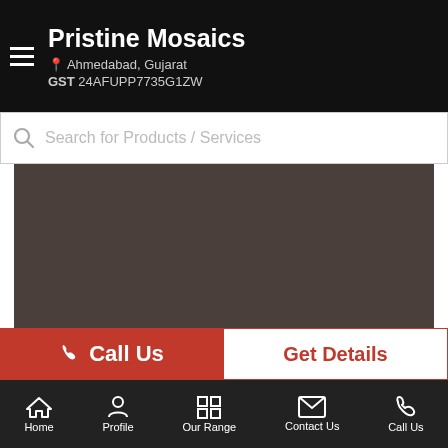Pristine Mosaics | Ahmedabad, Gujarat | GST 24AFUPP7735G1ZW
Search for Products / Services
[Figure (photo): Dark brownish-gray product image (Glass Mosaic Tile)]
Approx. Price: Rs 110 / Square Feet
Pristine Mosaics is counted amongst the most promising manufacturer entities, serving a quality approved range of Glass Mosaic Tiles, Artificial...more
Call Us
Get Details
Home | Profile | Our Range | Contact Us | Call Us